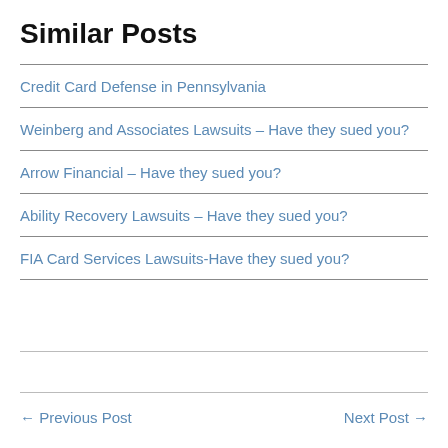Similar Posts
Credit Card Defense in Pennsylvania
Weinberg and Associates Lawsuits – Have they sued you?
Arrow Financial – Have they sued you?
Ability Recovery Lawsuits – Have they sued you?
FIA Card Services Lawsuits-Have they sued you?
← Previous Post    Next Post →